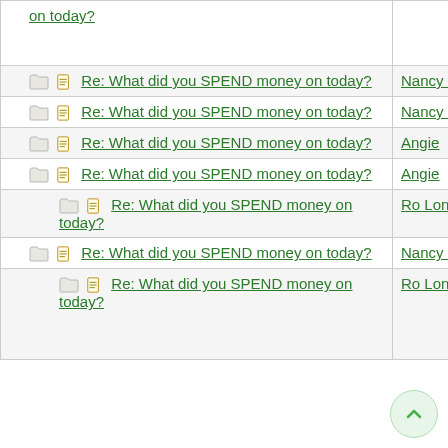| Topic | Author | Date/Time |
| --- | --- | --- |
| [folder][doc] Re: What did you SPEND money on today? |  |  |
| [folder][doc] Re: What did you SPEND money on today? | Nancy Roussy | 08/29/14 01:29 PM |
| [folder][doc] Re: What did you SPEND money on today? | Nancy Roussy | 09/05/14 03:59 PM |
| [folder][doc] Re: What did you SPEND money on today? | Angie | 09/05/14 07:36 PM |
| [folder][doc] Re: What did you SPEND money on today? | Angie | 09/05/14 07:40 PM |
| [folder][doc] Re: What did you SPEND money on today? | Ro Longstreet-Wicca | 09/27/14 01:13 AM |
| [folder][doc] Re: What did you SPEND money on today? | Nancy Roussy | 09/28/14 11:09 AM |
| [folder][doc] Re: What did you SPEND money on today? | Ro Longstreet-Wicca | 09/28/14 05:39 PM |